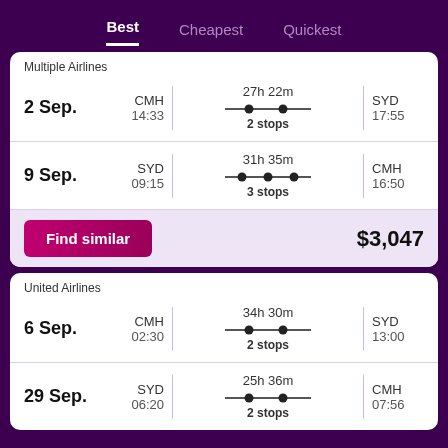Best | Cheapest | Quickest
| Airline | Date | Departure | Duration/Stops | Arrival | Price |
| --- | --- | --- | --- | --- | --- |
| Multiple Airlines | 2 Sep. | CMH 14:33 | 27h 22m 2 stops | SYD 17:55 |  |
| Multiple Airlines | 9 Sep. | SYD 09:15 | 31h 35m 3 stops | CMH 16:50 | $3,047 |
| United Airlines | 6 Sep. | CMH 02:30 | 34h 30m 2 stops | SYD 13:00 |  |
| United Airlines | 29 Sep. | SYD 06:20 | 25h 36m 2 stops | CMH 07:56 |  |